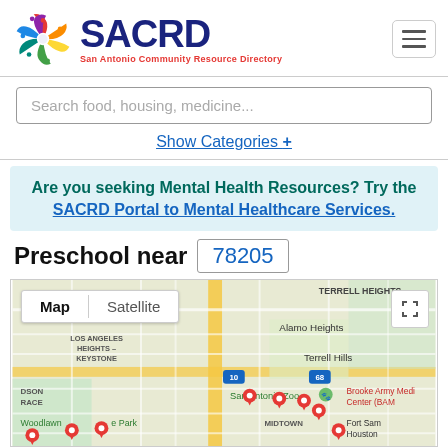[Figure (logo): SACRD logo — multicolor pinwheel/people icon with SACRD text in dark blue and subtitle 'San Antonio Community Resource Directory' in red]
Search food, housing, medicine...
Show Categories +
Are you seeking Mental Health Resources? Try the SACRD Portal to Mental Healthcare Services.
Preschool near 78205
[Figure (map): Google Map showing area around zip code 78205 in San Antonio TX, with neighborhoods labeled: Terrell Heights, Alamo Heights, Terrell Hills, Los Angeles Heights-Keystone, Woodlawn Park, Midtown, Fort Sam Houston, Brooke Army Medical Center (BAMC). Map/Satellite toggle visible. Multiple red location marker pins shown.]